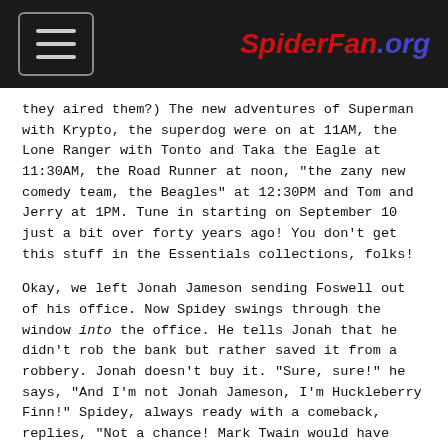SpiderFan.org
they aired them?) The new adventures of Superman with Krypto, the superdog were on at 11AM, the Lone Ranger with Tonto and Taka the Eagle at 11:30AM, the Road Runner at noon, "the zany new comedy team, the Beagles" at 12:30PM and Tom and Jerry at 1PM. Tune in starting on September 10 just a bit over forty years ago! You don't get this stuff in the Essentials collections, folks!
Okay, we left Jonah Jameson sending Foswell out of his office. Now Spidey swings through the window into the office. He tells Jonah that he didn't rob the bank but rather saved it from a robbery. Jonah doesn't buy it. "Sure, sure!" he says, "And I'm not Jonah Jameson, I'm Huckleberry Finn!" Spidey, always ready with a comeback, replies, "Not a chance! Mark Twain would have busted his quill pen before he'd inflict you on the reading public!" Before he can get into too much of a verbal tussle, Spidey exits out the